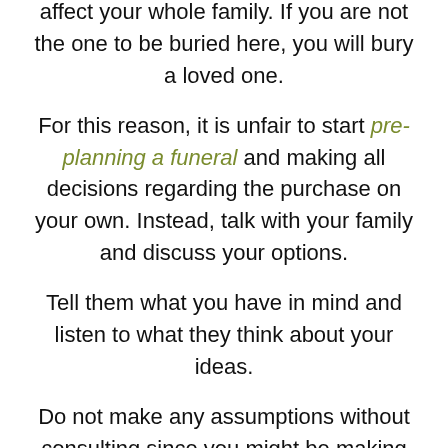affect your whole family. If you are not the one to be buried here, you will bury a loved one.
For this reason, it is unfair to start pre-planning a funeral and making all decisions regarding the purchase on your own. Instead, talk with your family and discuss your options.
Tell them what you have in mind and listen to what they think about your ideas.
Do not make any assumptions without consulting since you might be making the wrong decision.
You can also make the budget for the total